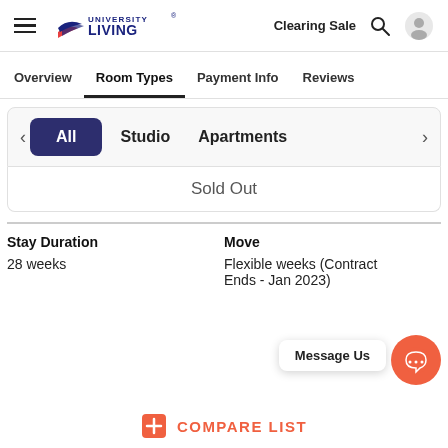University Living — Clearing Sale
Overview
Room Types
Payment Info
Reviews
All
Studio
Apartments
Sold Out
Stay Duration
28 weeks
Move
Flexible weeks (Contract Ends - Jan 2023)
Message Us
COMPARE LIST